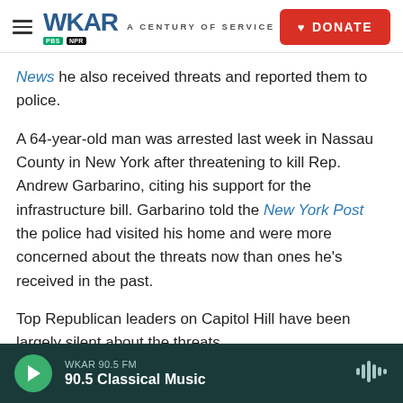WKAR A CENTURY OF SERVICE — DONATE
News he also received threats and reported them to police.
A 64-year-old man was arrested last week in Nassau County in New York after threatening to kill Rep. Andrew Garbarino, citing his support for the infrastructure bill. Garbarino told the New York Post the police had visited his home and were more concerned about the threats now than ones he's received in the past.
Top Republican leaders on Capitol Hill have been largely silent about the threats.
WKAR 90.5 FM — 90.5 Classical Music